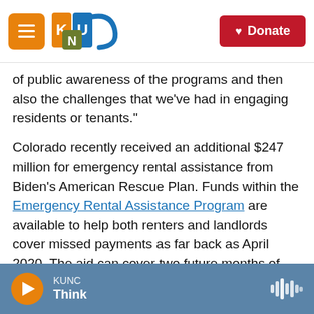KUNC — Donate
of public awareness of the programs and then also the challenges that we’ve had in engaging residents or tenants.”
Colorado recently received an additional $247 million for emergency rental assistance from Biden’s American Rescue Plan. Funds within the Emergency Rental Assistance Program are available to help both renters and landlords cover missed payments as far back as April 2020. The aid can cover two future months of rent on top of that.
Some local agencies administering the aid money
KUNC — Think